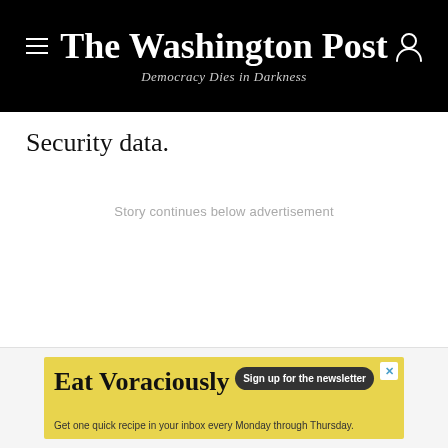The Washington Post
Democracy Dies in Darkness
Security data.
Story continues below advertisement
[Figure (other): Advertisement banner: Eat Voraciously newsletter signup. Yellow background with text 'Eat Voraciously', button 'Sign up for the newsletter', subtext 'Get one quick recipe in your inbox every Monday through Thursday.']